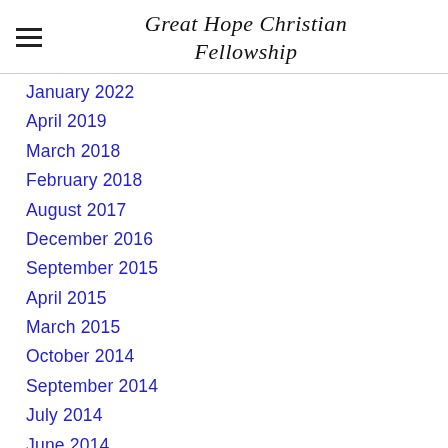Great Hope Christian Fellowship
January 2022
April 2019
March 2018
February 2018
August 2017
December 2016
September 2015
April 2015
March 2015
October 2014
September 2014
July 2014
June 2014
May 2014
April 2014
March 2014
February 2014